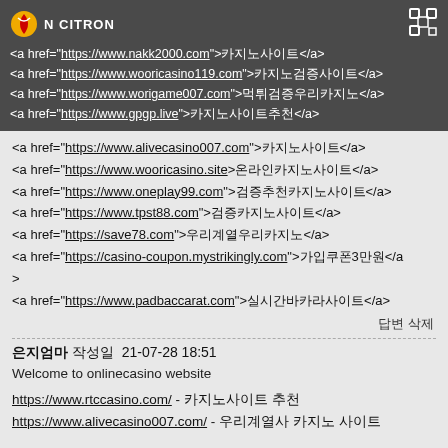[Figure (logo): N CITRON logo in top dark header bar with scan icon]
<a href="https://www.nakk2000.com">카지노사이트</a>
<a href="https://www.wooricasino119.com">카지노검증사이트</a>
<a href="https://www.worigame007.com">먹튀검증우리카지노</a>
<a href="https://www.gpgp.live">카지노사이트추천</a>
<a href="https://www.alivecasino007.com">카지노사이트</a>
<a href="https://www.wooricasino.site">온라인카지노사이트</a>
<a href="https://www.oneplay99.com">검증추천카지노사이트</a>
<a href="https://www.tpst88.com">검증카지노사이트</a>
<a href="https://save78.com">우리계열우리카지노</a>
<a href="https://casino-coupon.mystrikingly.com">가입쿠폰3만원</a>
<a href="https://www.padbaccarat.com">실시간바카라사이트</a>
답변 삭제
은지엄마 작성일  21-07-28 18:51
Welcome to onlinecasino website
https://www.rtccasino.com/ - 카지노사이트 추천